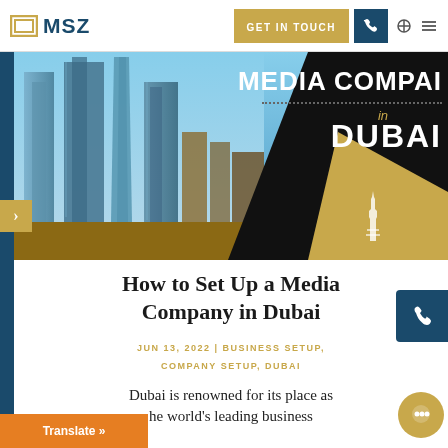MSZ | GET IN TOUCH
[Figure (photo): Hero image of Dubai skyscrapers with overlay text reading MEDIA COMPANY in DUBAI on dark and gold background with Burj Khalifa silhouette icon]
How to Set Up a Media Company in Dubai
JUN 13, 2022 | BUSINESS SETUP, COMPANY SETUP, DUBAI
Dubai is renowned for its place as he world's leading business